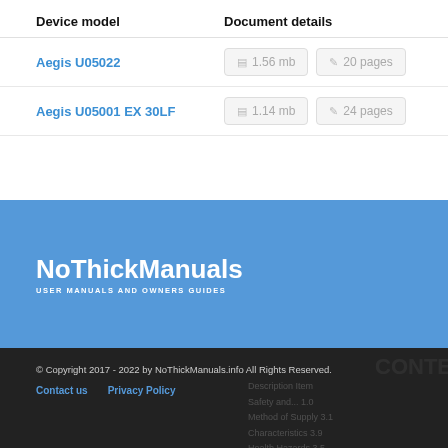| Device model | Document details |
| --- | --- |
| Aegis U05022 | 1.56 mb | 20 pages |
| Aegis U05001 EX 30LF | 1.14 mb | 24 pages |
[Figure (logo): NoThickManuals logo with tagline USER MANUALS AND OWNERS GUIDES on blue background]
© Copyright 2017 - 2022 by NoThickManuals.info All Rights Reserved. Contact us | Privacy Policy